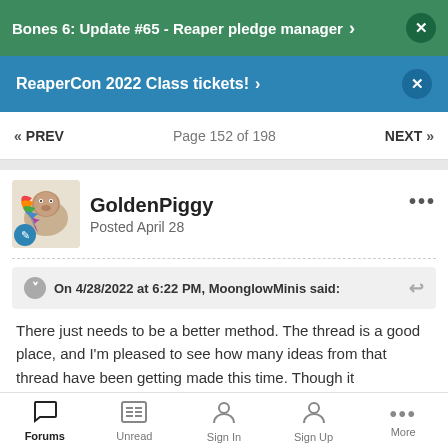Bones 6: Update #65 - Reaper pledge manager
ReaperCon 2022 Class tickets!
Page 152 of 198
GoldenPiggy
Posted April 28
On 4/28/2022 at 6:22 PM, MoonglowMinis said:
There just needs to be a better method.  The thread is a good place, and I'm pleased to see how many ideas from that thread have been getting made this time.  Though it
Forums  Unread  Sign In  Sign Up  More